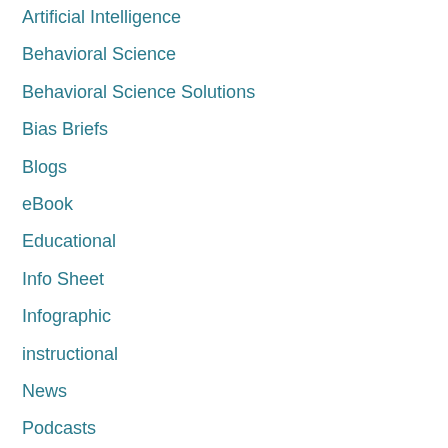Artificial Intelligence
Behavioral Science
Behavioral Science Solutions
Bias Briefs
Blogs
eBook
Educational
Info Sheet
Infographic
instructional
News
Podcasts